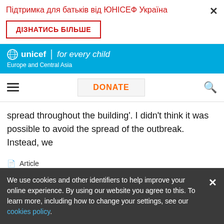Підтримка для батьків від ЮНІСЕФ Україна
ДІЗНАТИСЬ БІЛЬШЕ
[Figure (logo): UNICEF 'for every child' logo with globe icon, Europe and Central Asia region header on blue background]
DONATE
spread throughout the building'. I didn't think it was possible to avoid the spread of the outbreak. Instead, we
Article
16 September 2020
We use cookies and other identifiers to help improve your online experience. By using our website you agree to this. To learn more, including how to change your settings, see our cookies policy.